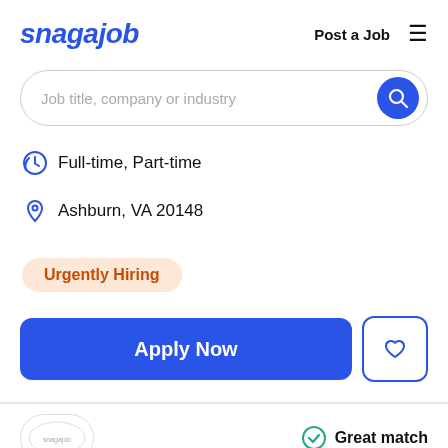snagajob — Post a Job
[Figure (screenshot): Search bar with placeholder text 'Job title, company or industry' and a blue search button]
Full-time, Part-time
Ashburn, VA 20148
Urgently Hiring
Apply Now
Great match